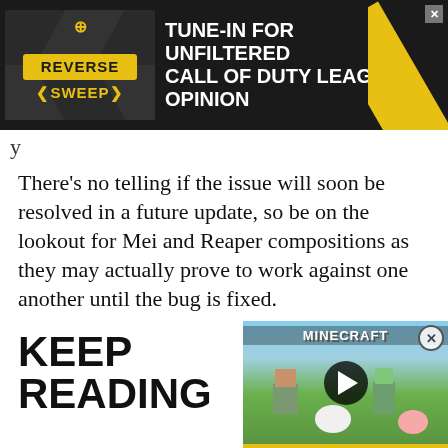[Figure (screenshot): Advertisement banner for 'Reverse Sweep' Call of Duty League opinion show. Dark background with yellow logo and text 'TUNE-IN FOR UNFILTERED CALL OF DUTY LEAGUE OPINION']
y
There’s no telling if the issue will soon be resolved in a future update, so be on the lookout for Mei and Reaper compositions as they may actually prove to work against one another until the bug is fixed.
KEEP READING
[Figure (screenshot): Minecraft video ad popup in the bottom right area showing Minecraft characters and logo on a yellow background with a play button overlay]
[Figure (screenshot): Bottom advertisement banner for 'Originals - Untold Influencer Stories' with LEARN MORE button. Partial image visible at bottom left.]